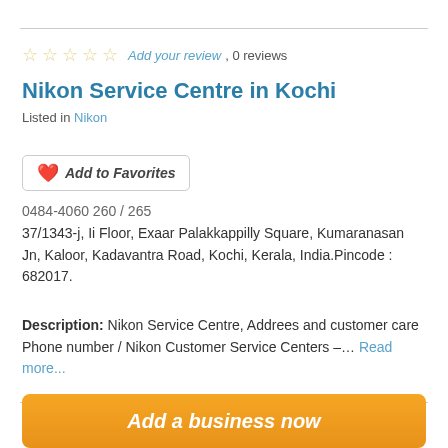☆☆☆☆☆ Add your review, 0 reviews
Nikon Service Centre in Kochi
Listed in Nikon
Add to Favorites
0484-4060 260 / 265
37/1343-j, Ii Floor, Exaar Palakkappilly Square, Kumaranasan Jn, Kaloor, Kadavantra Road, Kochi, Kerala, India.Pincode : 682017.
Description: Nikon Service Centre, Addrees and customer care Phone number / Nikon Customer Service Centers –… Read more...
1  2  Next »
Add a business now